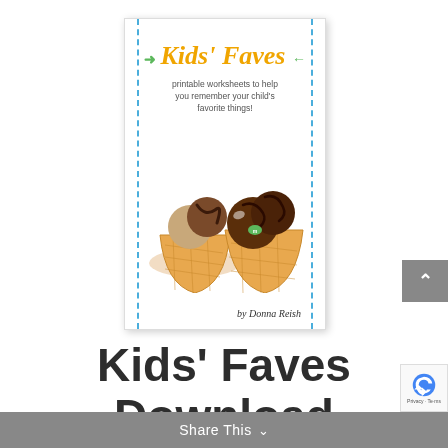[Figure (illustration): Book cover for 'Kids' Faves' — printable worksheets to help you remember your child's favorite things, by Donna Reish. Cover features ice cream scoops in waffle cones, orange italic title text with green arrows, blue dashed border lines on sides, and author signature at bottom right.]
Kids' Faves Download
Share This